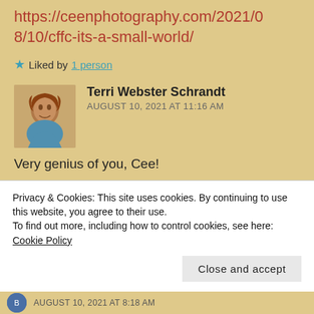https://ceenphotography.com/2021/08/10/cffc-its-a-small-world/
★ Liked by 1 person
Terri Webster Schrandt
AUGUST 10, 2021 AT 11:16 AM
Very genius of you, Cee!
★ Like
Privacy & Cookies: This site uses cookies. By continuing to use this website, you agree to their use.
To find out more, including how to control cookies, see here: Cookie Policy
Close and accept
AUGUST 10, 2021 AT 8:18 AM